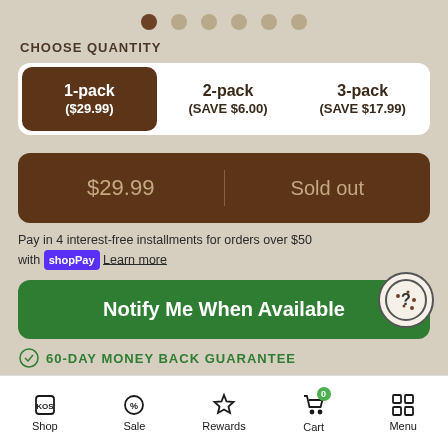[Figure (other): Carousel dot indicators — 6 dots, first dot is dark brown (active), remaining 5 are tan/beige]
CHOOSE QUANTITY
| 1-pack ($29.99) | 2-pack (SAVE $6.00) | 3-pack (SAVE $17.99) |
| --- | --- | --- |
$29.99   |   Sold out
Pay in 4 interest-free installments for orders over $50 with shop Pay Learn more
Notify Me When Available
60-DAY MONEY BACK GUARANTEE
Shop   Sale   Rewards   Cart 0   Menu